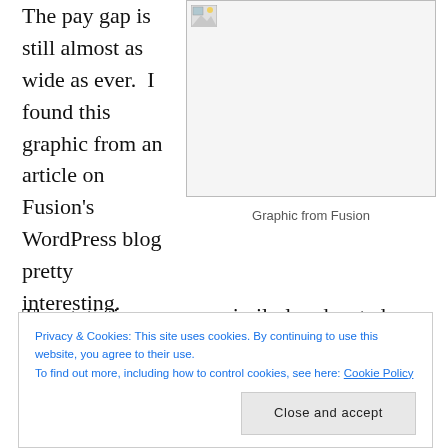The pay gap is still almost as wide as ever.  I found this graphic from an article on Fusion's WordPress blog pretty interesting.
[Figure (illustration): Broken/missing image placeholder with small image icon in top-left corner]
Graphic from Fusion
The statistics compare similarly educated men and
Privacy & Cookies: This site uses cookies. By continuing to use this website, you agree to their use.
To find out more, including how to control cookies, see here: Cookie Policy
Close and accept